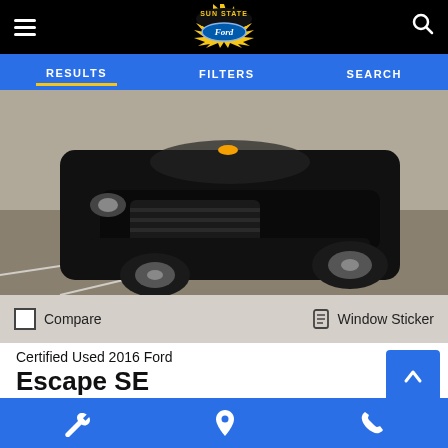Sun State Ford – hamburger menu, logo, search icon
RESULTS  FILTERS  SEARCH
[Figure (photo): Front view of a black 2016 Ford Escape SE SUV parked in a parking lot, photographed from a slightly elevated angle showing the front grille, headlights, hood, and front wheels on an asphalt surface.]
Compare    Window Sticker
Certified Used 2016 Ford Escape SE
MPG: 22/31 (City/Hwy)
Mileage: 111,535
Stock #: 00P24943
Wrench icon  Location pin icon  Phone icon